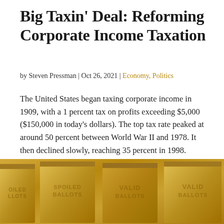Big Taxin' Deal: Reforming Corporate Income Taxation
by Steven Pressman | Oct 26, 2021 | Economy, Politics
The United States began taxing corporate income in 1909, with a 1 percent tax on profits exceeding $5,000 ($150,000 in today's dollars). The top tax rate peaked at around 50 percent between World War II and 1978. It then declined slowly, reaching 35 percent in 1998. President Trump's 2017 Tax Cut and Jobs Act cut [...]
READ MORE
[Figure (photo): Gold-colored metal ballot boxes labeled 'SPOILED BALLOTS' and 'VALID BALLOTS']